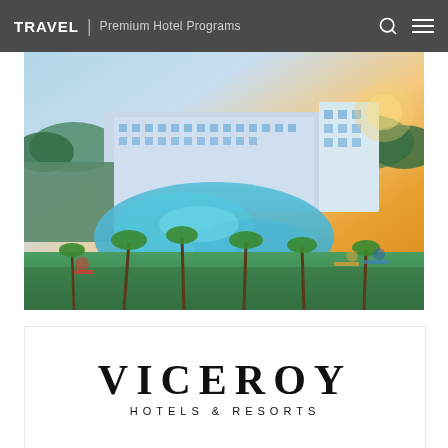TRAVEL | Premium Hotel Programs
[Figure (photo): Aerial view of a luxury resort hotel with a large curved pool surrounded by palm trees, lounge chairs, and lush tropical landscaping, with multi-story hotel buildings in the background at sunset.]
[Figure (logo): Viceroy Hotels & Resorts logo with large serif text 'VICEROY' and smaller sans-serif text 'HOTELS & RESORTS' below.]